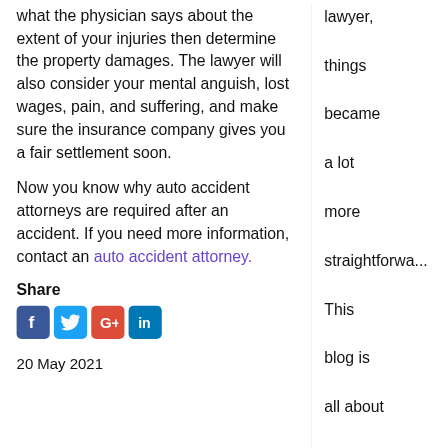what the physician says about the extent of your injuries then determine the property damages. The lawyer will also consider your mental anguish, lost wages, pain, and suffering, and make sure the insurance company gives you a fair settlement soon.
Now you know why auto accident attorneys are required after an accident. If you need more information, contact an auto accident attorney.
Share
20 May 2021
lawyer, things became a lot more straightforward. This blog is all about improving your life and streamlining your business with the